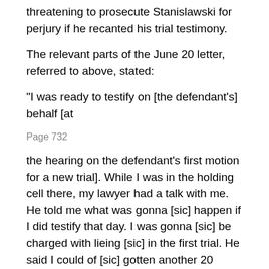threatening to prosecute Stanislawski for perjury if he recanted his trial testimony.
The relevant parts of the June 20 letter, referred to above, stated:
"I was ready to testify on [the defendant's] behalf [at
Page 732
the hearing on the defendant's first motion for a new trial]. While I was in the holding cell there, my lawyer had a talk with me. He told me what was gonna [sic] happen if I did testify that day. I was gonna [sic] be charged with lieing [sic] in the first trial. He said I could of [sic] gotten another 20 years added to my sentence. I did not need that. . . . My lawyer was only looking out for my best interest. . . . I thought you knew I was doing